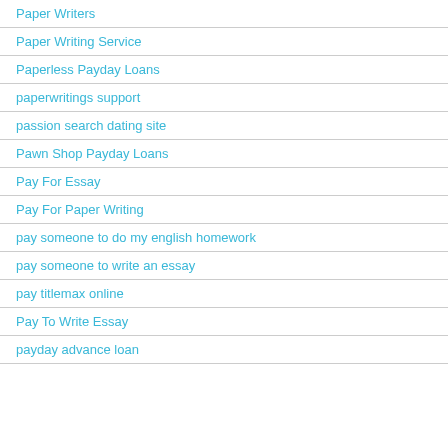Paper Writers
Paper Writing Service
Paperless Payday Loans
paperwritings support
passion search dating site
Pawn Shop Payday Loans
Pay For Essay
Pay For Paper Writing
pay someone to do my english homework
pay someone to write an essay
pay titlemax online
Pay To Write Essay
payday advance loan